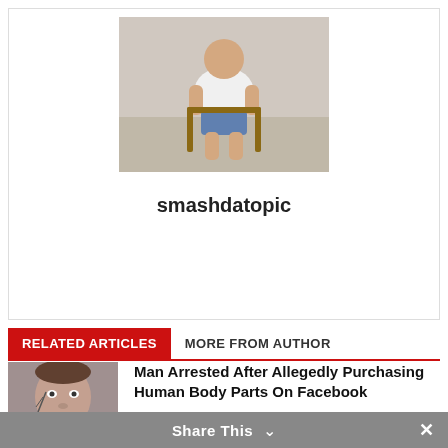[Figure (photo): Author photo of a person sitting in a chair outdoors, wearing a white t-shirt and shorts]
smashdatopic
RELATED ARTICLES	MORE FROM AUTHOR
[Figure (photo): Mugshot of a man with facial tattoos]
Man Arrested After Allegedly Purchasing Human Body Parts On Facebook
[Figure (photo): Mugshot of a blonde woman]
Recording Shows Woman Sliding Out Of Handcuffs, Getting Rifle, And Shooting At Deputies From Inside Of Patrol Vehicle